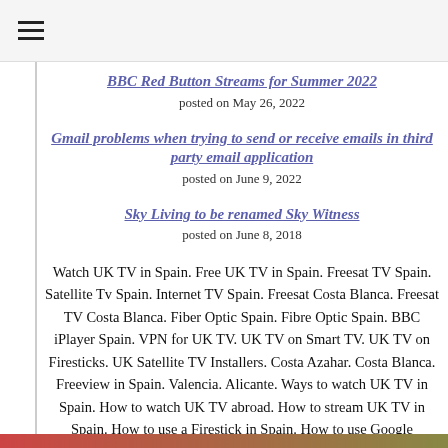≡
BBC Red Button Streams for Summer 2022
posted on May 26, 2022
Gmail problems when trying to send or receive emails in third party email application
posted on June 9, 2022
Sky Living to be renamed Sky Witness
posted on June 8, 2018
Watch UK TV in Spain. Free UK TV in Spain. Freesat TV Spain. Satellite Tv Spain. Internet TV Spain. Freesat Costa Blanca. Freesat TV Costa Blanca. Fiber Optic Spain. Fibre Optic Spain. BBC iPlayer Spain. VPN for UK TV. UK TV on Smart TV. UK TV on Firesticks. UK Satellite TV Installers. Costa Azahar. Costa Blanca. Freeview in Spain. Valencia. Alicante. Ways to watch UK TV in Spain. How to watch UK TV abroad. How to stream UK TV in Spain. How to use a Firestick in Spain. How to use Google Chromecast in Spain. Best Smart DNS for Spain.
Advertising